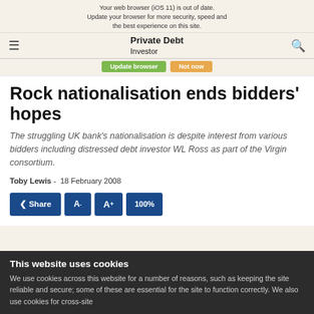Your web browser (iOS 11) is out of date. Update your browser for more security, speed and the best experience on this site.
Private Debt Investor
Update your browser for more security, speed and the best experience on this site.
Rock nationalisation ends bidders' hopes
The struggling UK bank's nationalisation is despite interest from various bidders including distressed debt investor WL Ross as part of the Virgin consortium.
Toby Lewis - 18 February 2008
Share  A-  A+  100%
This website uses cookies
We use cookies across this website for a number of reasons, such as keeping the site reliable and secure; some of these are essential for the site to function correctly. We also use cookies for cross-site